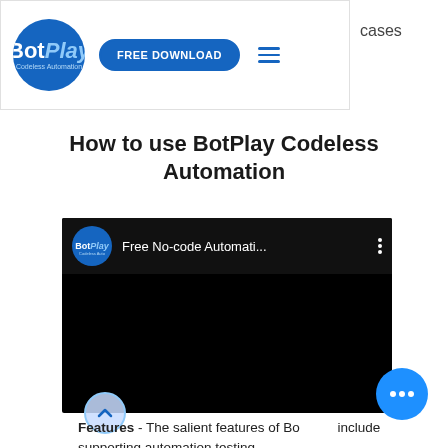BotPlay Codeless Automation — FREE DOWNLOAD — cases
How to use BotPlay Codeless Automation
[Figure (screenshot): Embedded YouTube-style video player showing BotPlay logo and title 'Free No-code Automati...' on a black background]
Features - The salient features of BotPlay include supporting automation testing